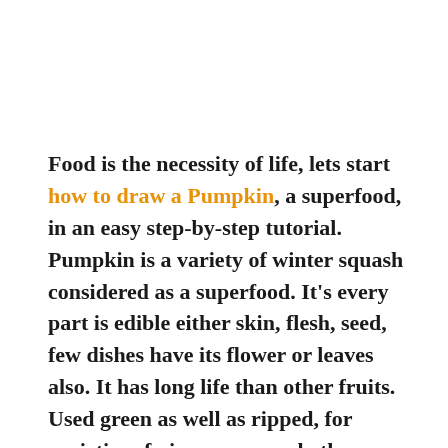Food is the necessity of life, lets start how to draw a Pumpkin, a superfood, in an easy step-by-step tutorial. Pumpkin is a variety of winter squash considered as a superfood. It's every part is edible either skin, flesh, seed, few dishes have its flower or leaves also. It has long life than other fruits. Used green as well as ripped, for varieties of pies, soups, and other dishes.